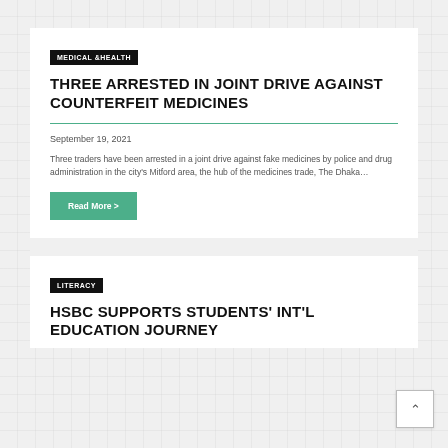MEDICAL & HEALTH
THREE ARRESTED IN JOINT DRIVE AGAINST COUNTERFEIT MEDICINES
September 19, 2021
Three traders have been arrested in a joint drive against fake medicines by police and drug administration in the city's Mitford area, the hub of the medicines trade, The Dhaka…
Read More >
LITERACY
HSBC SUPPORTS STUDENTS' INT'L EDUCATION JOURNEY